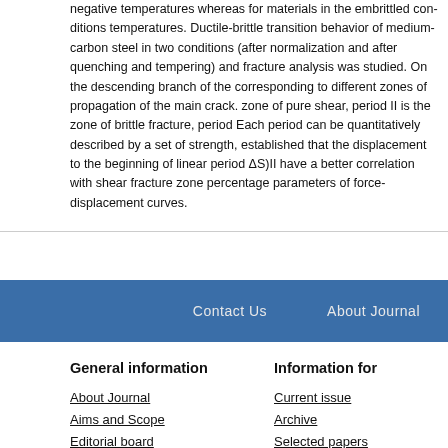negative temperatures whereas for materials in the embrittled conditions temperatures. Ductile-brittle transition behavior of medium-carbon steel in two conditions (after normalization and after quenching and tempering) and fracture analysis was studied. On the descending branch of the curve corresponding to different zones of propagation of the main crack. Period I is zone of pure shear, period II is the zone of brittle fracture, period... Each period can be quantitatively described by a set of strength, ... established that the displacement to the beginning of linear period... ΔS)II have a better correlation with shear fracture zone percentage... parameters of force-displacement curves.
Contact Us   About Journal
General information
Information for
About Journal
Aims and Scope
Editorial board
Contact Us
Current issue
Archive
Selected papers
Search